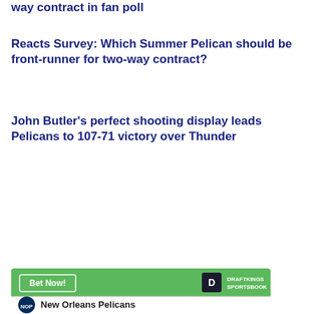way contract in fan poll
Reacts Survey: Which Summer Pelican should be front-runner for two-way contract?
John Butler’s perfect shooting display leads Pelicans to 107-71 victory over Thunder
[Figure (other): DraftKings Sportsbook advertisement banner with green background, Bet Now button, DraftKings logo, and New Orleans Pelicans team branding]